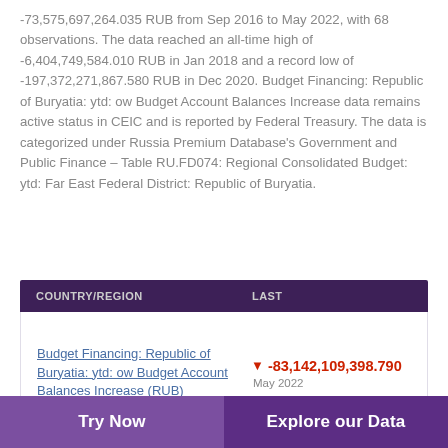-73,575,697,264.035 RUB from Sep 2016 to May 2022, with 68 observations. The data reached an all-time high of -6,404,749,584.010 RUB in Jan 2018 and a record low of -197,372,271,867.580 RUB in Dec 2020. Budget Financing: Republic of Buryatia: ytd: ow Budget Account Balances Increase data remains active status in CEIC and is reported by Federal Treasury. The data is categorized under Russia Premium Database's Government and Public Finance – Table RU.FD074: Regional Consolidated Budget: ytd: Far East Federal District: Republic of Buryatia.
| COUNTRY/REGION | LAST |
| --- | --- |
| Budget Financing: Republic of Buryatia: ytd: ow Budget Account Balances Increase (RUB) | ▼ -83,142,109,398.790
May 2022 |
Try Now   Explore our Data